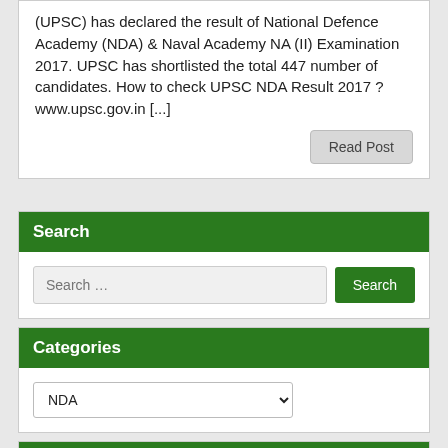(UPSC) has declared the result of National Defence Academy (NDA) & Naval Academy NA (II) Examination 2017. UPSC has shortlisted the total 447 number of candidates. How to check UPSC NDA Result 2017 ? www.upsc.gov.in [...]
Read Post
Search
Search …
Categories
NDA
Important Link
(Latest) HSSC Group D Study Materials and Questions  (New) HSSC Group D Syllabus PDF Download  Admit Card  English Grammar
Exam Analysis Exam Review